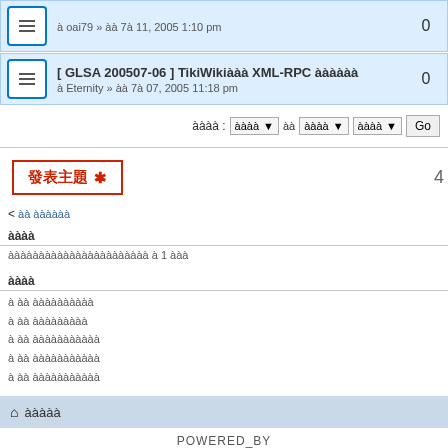oai79 » 月 7月 11, 2005 1:10 pm — 0
[ GLSA 200507-06 ] TikiWiki的 XML-RPC 問題修正 — Eternity » 月 7月 07, 2005 11:18 pm — 0
排序方式: 下拉 以 下拉 下拉 Go
發表主題 *
< 回 首頁論壇
版面規則
本版版面規定所有使用者於發表前必須詳閱 1 則訊息
版面統計
共 有 個 主題發布於此版
共 有 個 帖子發布於此版
共 有 位 個人曾於此版發帖
共 有 位 個人曾於此版發帖
共 有 位 個人曾於此版發帖
⌂ 首頁論壇
POWERED_BY phpBB © phpBB 首頁群組